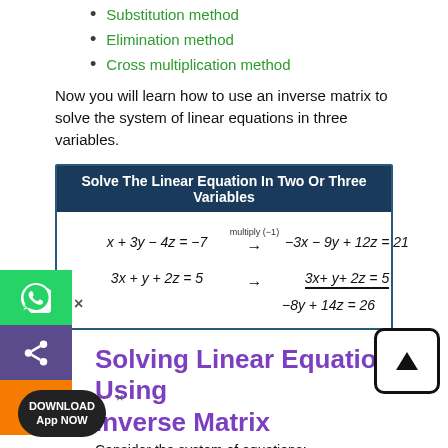Substitution method
Elimination method
Cross multiplication method
Now you will learn how to use an inverse matrix to solve the system of linear equations in three variables.
[Figure (math-figure): Box titled 'Solve The Linear Equation In Two Or Three Variables' showing elimination steps: x+3y-4z=-7 multiplied by (-1) gives -3x-9y+12z=21, and 3x+y+2z=5 gives 3x+y+2z=5 (underlined), resulting in -8y+14z=26]
Solving Linear Equations Using Inverse Matrix
Consider the system of equations: